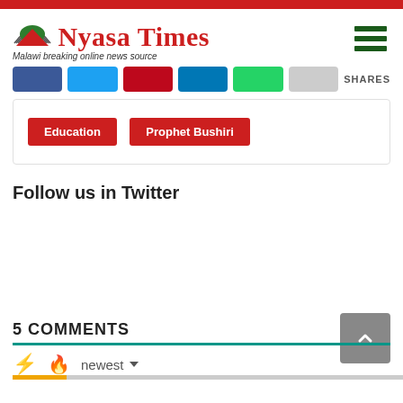[Figure (logo): Nyasa Times logo with red arch icon and tagline 'Malawi breaking online news source']
[Figure (infographic): Row of social share buttons: Facebook (blue), Twitter (light blue), Pinterest (red), LinkedIn (blue), WhatsApp (green), Email (grey), and SHARES label]
Education  Prophet Bushiri
Follow us in Twitter
[Figure (infographic): Back to top button - grey square with up chevron]
5 COMMENTS
[Figure (infographic): Comments toolbar with bolt icon, fire icon, and 'newest' dropdown with gold/grey progress bar]